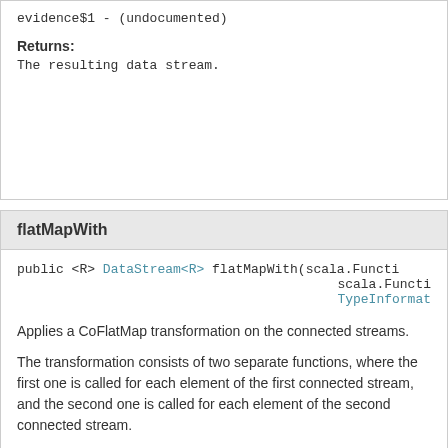evidence$1 - (undocumented)
Returns:
The resulting data stream.
flatMapWith
public <R> DataStream<R> flatMapWith(scala.Functi scala.Functi TypeInformat
Applies a CoFlatMap transformation on the connected streams.
The transformation consists of two separate functions, where the first one is called for each element of the first connected stream, and the second one is called for each element of the second connected stream.
Parameters:
flatMap1 - Function called per element of the first input.